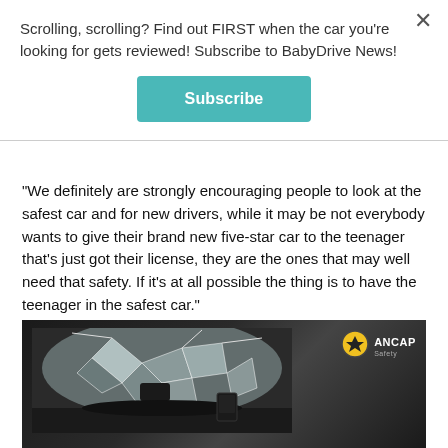Scrolling, scrolling? Find out FIRST when the car you're looking for gets reviewed! Subscribe to BabyDrive News!
Subscribe
“We definitely are strongly encouraging people to look at the safest car and for new drivers, while it may be not everybody wants to give their brand new five-star car to the teenager that's just got their license, they are the ones that may well need that safety. If it’s at all possible the thing is to have the teenager in the safest car.”
[Figure (photo): Interior view of a car during an ANCAP crash test, showing a shattered windshield. ANCAP logo visible in upper right.]